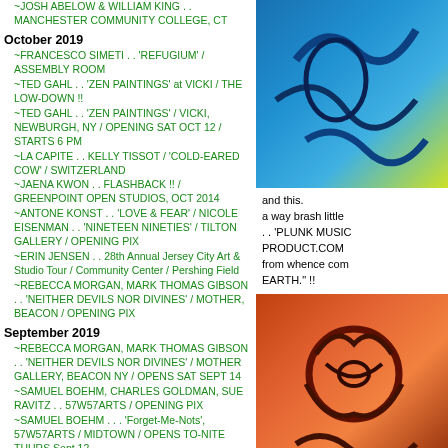~JOSH ABELOW & WILLIAM KING . . MANCHESTER COMMUNITY COLLEGE, CT
October 2019
~FRANCESCO SIMETI . . 'REFUGIUM' / ASSEMBLY ROOM
~TED GAHL . . 'ZEN PAINTINGS' at VICKI / THE LOW-DOWN !!
~TED GAHL . . 'ZEN PAINTINGS' / VICKI, NEWBURGH, NY / OPENING SAT OCT 12 / STARTS 6 PM
~LA CAPITE . . KELLY TISSOT / 'COLD-EARED COW' / SWITZERLAND
~JAENA KWON . . FLASHBACK !! / GREENPOINT OPEN STUDIOS, OCT 2014
~ANTONE KONST . . 'LOVE & FEAR' / NICOLE EISENMAN . . 'NINETEEN NINETIES' / TILTON GALLERY / OPENING PIX
~ERIN JENSEN . . 28th Annual Jersey City Art & Studio Tour / Community Center / Pershing Field
~REBECCA MORGAN, MARK THOMAS GIBSON . . 'NEITHER DEVILS NOR DIVINES' / MOTHER, BEACON / OPENING PIX
September 2019
~REBECCA MORGAN, MARK THOMAS GIBSON . . 'NEITHER DEVILS NOR DIVINES' / MOTHER GALLERY, BEACON NY / OPENS SAT SEPT 14
~SAMUEL BOEHM, CHARLES GOLDMAN, SUE RAVITZ . . 57W57ARTS / OPENING PIX
~SAMUEL BOEHM . . . 'Forget-Me-Nots', 57W57ARTS / MIDTOWN / OPENS TO-NITE THURS Sept 12
~ANTONE KONST . . 'LOVE & FEAR', TILTON GALLERY / UPTOWN / OPENS TO-NITE WED SEPT 11
~9-11 Quilt . . . 'Lightning Strikes'
~DANIEL GIORDANO, BROCK ENRIGHT, GIOVANNI FORLINO, CHASON MATTHAMS, RYAN BROWNING, STEVEN MAYER, JENNY MORGAN . . . 'SOFT TEMPLE' / MOTHER GALLERY / BEACON, NY
~DANIEL GIORDANO . . STUDIO VISIT / NEWBURGH, NY
[Figure (photo): Colorful artwork photo with blue and yellow tones, appears to be a painting or illustration]
and this.
a way brash little
. . 'PLUNK MUSIC
PRODUCT.COM
from whence com
EARTH.' !!
[Figure (photo): Colorful artwork photo with orange and red tones, appears to be a painting or illustration with a lion-like figure]